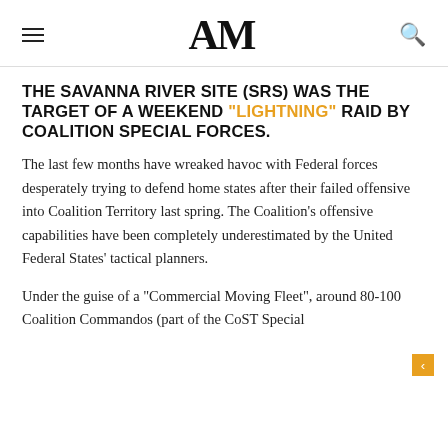AM
THE SAVANNA RIVER SITE (SRS) WAS THE TARGET OF A WEEKEND "LIGHTNING" RAID BY COALITION SPECIAL FORCES.
The last few months have wreaked havoc with Federal forces desperately trying to defend home states after their failed offensive into Coalition Territory last spring. The Coalition's offensive capabilities have been completely underestimated by the United Federal States' tactical planners.
Under the guise of a “Commercial Moving Fleet”, around 80-100 Coalition Commandos (part of the CoST Special